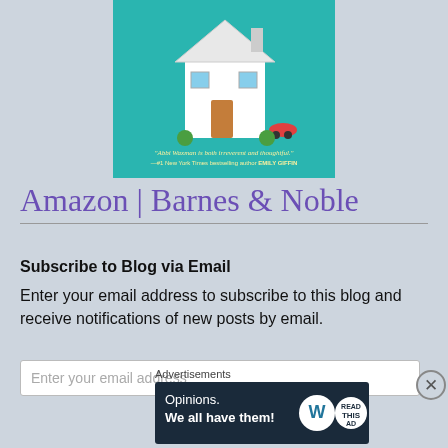[Figure (illustration): Book cover showing a illustrated house with colorful elements on a teal background, with a quote: 'Abbi Waxman is both irreverent and thoughtful.' —#1 New York Times bestselling author EMILY GIFFIN]
Amazon | Barnes & Noble
Subscribe to Blog via Email
Enter your email address to subscribe to this blog and receive notifications of new posts by email.
Enter your email address
Advertisements
[Figure (infographic): WordPress advertisement banner: 'Opinions. We all have them!' with WordPress and BlogNow logos on dark navy background]